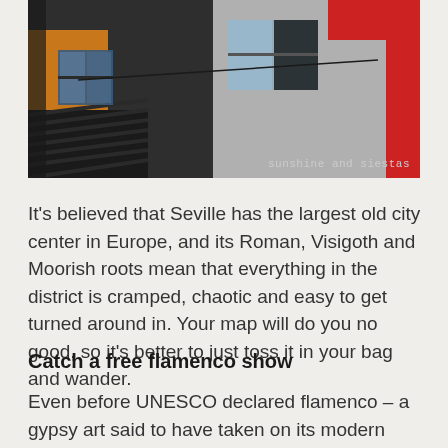[Figure (photo): Photograph of colorful building facades in Seville, showing yellow and red walls with windows, taken at an angle. A watermark reads 'sunshine and siestas' in the bottom right corner.]
It's believed that Seville has the largest old city center in Europe, and its Roman, Visigoth and Moorish roots mean that everything in the district is cramped, chaotic and easy to get turned around in. Your map will do you no good, so it's better to just toss it in your bag and wander.
Catch a free flamenco show
Even before UNESCO declared flamenco – a gypsy art said to have taken on its modern form in Seville – an Intangible Cultural Heritage of Humanity, flamenco has been infused into the lives of sevillanos and its visitors. Peñas flamencas, small bars dedicated to